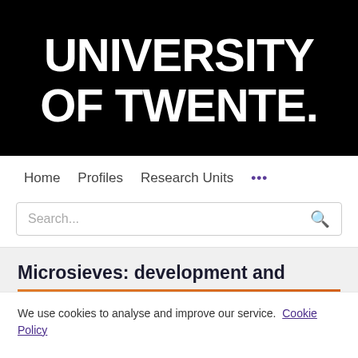[Figure (logo): University of Twente logo — white bold text on black background reading UNIVERSITY OF TWENTE.]
Home   Profiles   Research Units   ...
Search...
Microsieves: development and
We use cookies to analyse and improve our service.  Cookie Policy